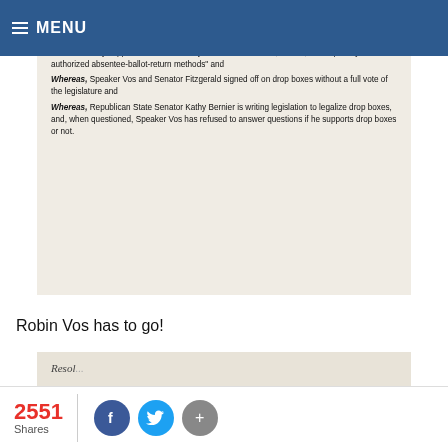≡ MENU
[Figure (photo): Scanned document image showing whereas clauses about drop boxes, Speaker Vos, and election integrity]
Robin Vos has to go!
[Figure (photo): Bottom portion of another scanned document, partially visible with italic text starting with 'Resol...']
2551 Shares
[Figure (infographic): Social share buttons: Facebook, Twitter, and More (+)]